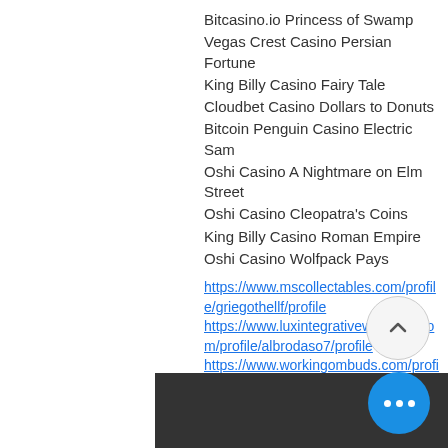Bitcasino.io Princess of Swamp
Vegas Crest Casino Persian Fortune
King Billy Casino Fairy Tale
Cloudbet Casino Dollars to Donuts
Bitcoin Penguin Casino Electric Sam
Oshi Casino A Nightmare on Elm Street
Oshi Casino Cleopatra's Coins
King Billy Casino Roman Empire
Oshi Casino Wolfpack Pays
https://www.mscollectables.com/profile/griegothellf/profile
https://www.luxintegrativewellness.com/profile/albrodaso7/profile
https://www.workingombuds.com/profile/kurzmaretts/profile
https://www.ocelotcompany.com/profile/dooneydorisx/profile